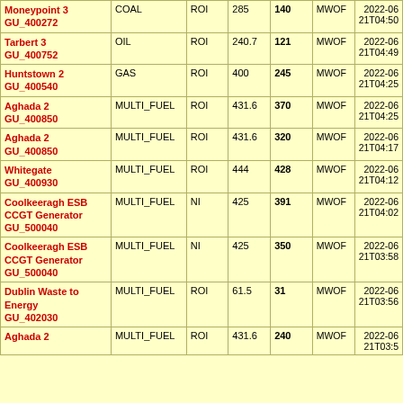| Name/GU | Fuel | Region | Cap | MW | Unit | Timestamp |
| --- | --- | --- | --- | --- | --- | --- |
| Moneypoint 3 GU_400272 | COAL | ROI | 285 | 140 | MWOF | 2022-06-21T04:50 |
| Tarbert 3 GU_400752 | OIL | ROI | 240.7 | 121 | MWOF | 2022-06-21T04:49 |
| Huntstown 2 GU_400540 | GAS | ROI | 400 | 245 | MWOF | 2022-06-21T04:25 |
| Aghada 2 GU_400850 | MULTI_FUEL | ROI | 431.6 | 370 | MWOF | 2022-06-21T04:25 |
| Aghada 2 GU_400850 | MULTI_FUEL | ROI | 431.6 | 320 | MWOF | 2022-06-21T04:17 |
| Whitegate GU_400930 | MULTI_FUEL | ROI | 444 | 428 | MWOF | 2022-06-21T04:12 |
| Coolkeeragh ESB CCGT Generator GU_500040 | MULTI_FUEL | NI | 425 | 391 | MWOF | 2022-06-21T04:02 |
| Coolkeeragh ESB CCGT Generator GU_500040 | MULTI_FUEL | NI | 425 | 350 | MWOF | 2022-06-21T03:58 |
| Dublin Waste to Energy GU_402030 | MULTI_FUEL | ROI | 61.5 | 31 | MWOF | 2022-06-21T03:56 |
| Aghada 2 | MULTI_FUEL | ROI | 431.6 | 240 | MWOF | 2022-06-21T03:5 |